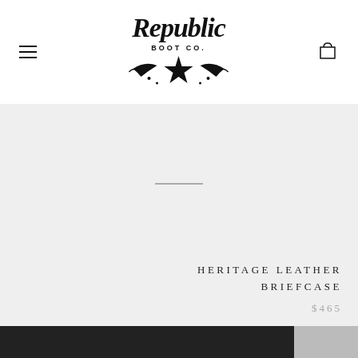[Figure (logo): Republic Boot Co. logo with cursive script text and a nautical star with decorative vines underneath]
HERITAGE LEATHER BRIEFCASE
$465